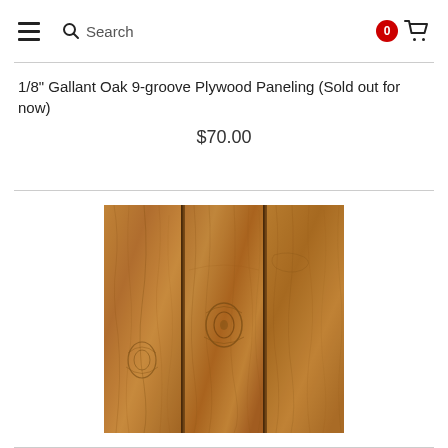Search
1/8" Gallant Oak 9-groove Plywood Paneling (Sold out for now)
$70.00
[Figure (photo): Product photo of 1/8 inch Gallant Oak 9-groove Plywood Paneling showing warm brown wood grain with vertical grooves dividing the panel into sections]